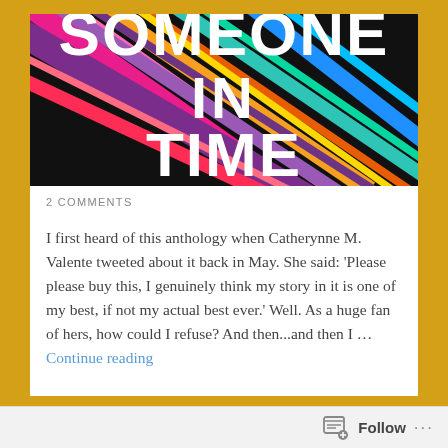[Figure (illustration): Book cover showing colorful abstract diagonal lines in pink, purple, orange, teal, blue on black background with bold white text reading 'SOMEONE IN TIME']
2 COMMENTS
I first heard of this anthology when Catherynne M. Valente tweeted about it back in May. She said: 'Please please buy this, I genuinely think my story in it is one of my best, if not my actual best ever.' Well. As a huge fan of hers, how could I refuse? And then...and then I … Continue reading
Follow ...